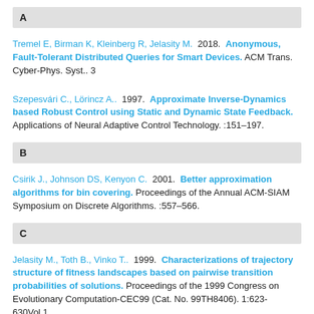A
Tremel E, Birman K, Kleinberg R, Jelasity M.  2018.  Anonymous, Fault-Tolerant Distributed Queries for Smart Devices. ACM Trans. Cyber-Phys. Syst.. 3
Szepesvári C., Lörincz A..  1997.  Approximate Inverse-Dynamics based Robust Control using Static and Dynamic State Feedback. Applications of Neural Adaptive Control Technology. :151–197.
B
Csirik J., Johnson DS, Kenyon C.  2001.  Better approximation algorithms for bin covering. Proceedings of the Annual ACM-SIAM Symposium on Discrete Algorithms. :557–566.
C
Jelasity M., Toth B., Vinko T..  1999.  Characterizations of trajectory structure of fitness landscapes based on pairwise transition probabilities of solutions. Proceedings of the 1999 Congress on Evolutionary Computation-CEC99 (Cat. No. 99TH8406). 1:623-630Vol.1.